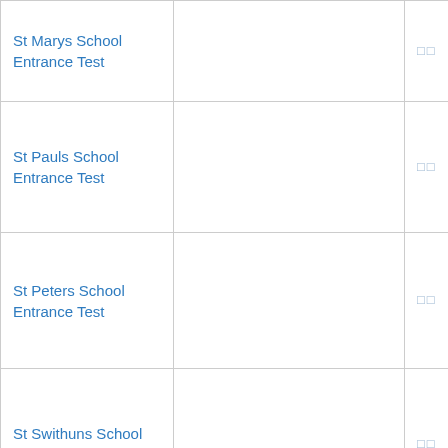| St Marys School Entrance Test |  | □□ |
| St Pauls School Entrance Test |  | □□ |
| St Peters School Entrance Test |  | □□ |
| St Swithuns School Entrance Test |  | □□ |
| Sydney Grammar School Entrance Test |  | □□□□ |